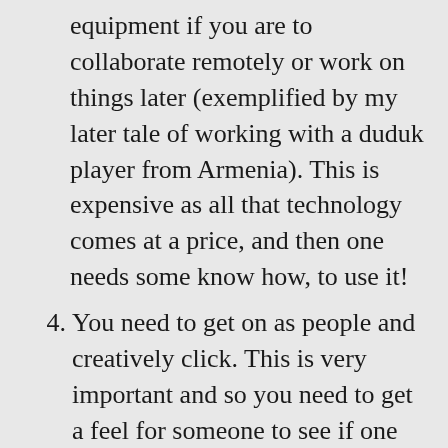equipment if you are to collaborate remotely or work on things later (exemplified by my later tale of working with a duduk player from Armenia). This is expensive as all that technology comes at a price, and then one needs some know how, to use it!
4. You need to get on as people and creatively click. This is very important and so you need to get a feel for someone to see if one might be a good match. You have to share a “ seeing prism “of how to view/create the song . You have to give each other space to feel